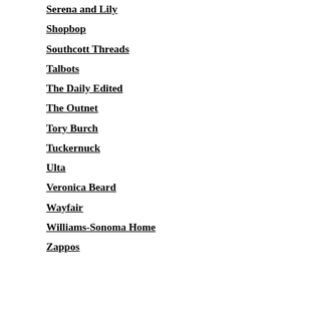Serena and Lily
Shopbop
Southcott Threads
Talbots
The Daily Edited
The Outnet
Tory Burch
Tuckernuck
Ulta
Veronica Beard
Wayfair
Williams-Sonoma Home
Zappos